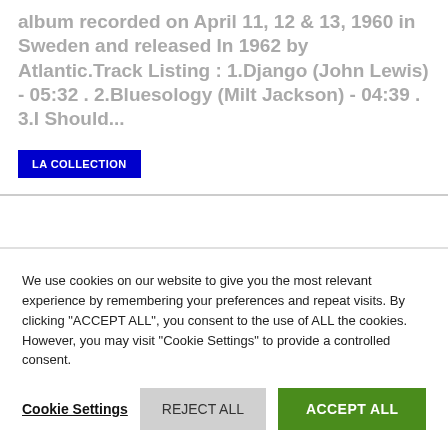album recorded on April 11, 12 & 13, 1960 in Sweden and released In 1962 by Atlantic.Track Listing : 1.Django (John Lewis) - 05:32 . 2.Bluesology (Milt Jackson) - 04:39 . 3.I Should...
LA COLLECTION
We use cookies on our website to give you the most relevant experience by remembering your preferences and repeat visits. By clicking "ACCEPT ALL", you consent to the use of ALL the cookies. However, you may visit "Cookie Settings" to provide a controlled consent.
Cookie Settings  REJECT ALL  ACCEPT ALL